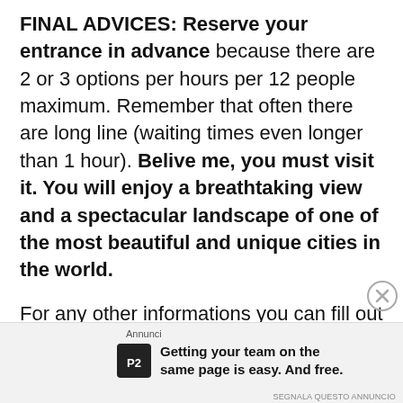FINAL ADVICES: Reserve your entrance in advance because there are 2 or 3 options per hours per 12 people maximum. Remember that often there are long line (waiting times even longer than 1 hour). Belive me, you must visit it. You will enjoy a breathtaking view and a spectacular landscape of one of the most beautiful and unique cities in the world.

For any other informations you can fill out the form that you will find at the end of this page. I will aswer you as soon as possible. Venice 4 all and all 4 Venice
[Figure (other): Advertisement banner at bottom of page. Shows 'Annunci' label, P2 logo (black square with P2 text), and bold text: 'Getting your team on the same page is easy. And free.' with a close (X) button.]